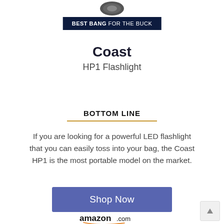[Figure (photo): Partial view of a flashlight head/top portion, cropped at the top of the page]
BEST BANG FOR THE BUCK
Coast
HP1 Flashlight
BOTTOM LINE
If you are looking for a powerful LED flashlight that you can easily toss into your bag, the Coast HP1 is the most portable model on the market.
Shop Now
amazon.com